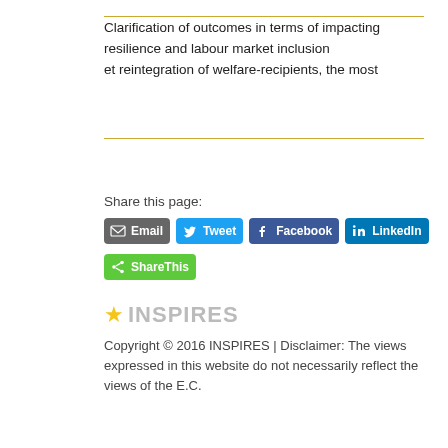Clarification of outcomes in terms of impacting resilience and labour market inclusion et reintegration of welfare-recipients, the most
Share this page:
[Figure (infographic): Social sharing buttons: Email, Tweet, Facebook, LinkedIn, ShareThis]
[Figure (logo): INSPIRES logo with yellow star]
Copyright © 2016 INSPIRES | Disclaimer: The views expressed in this website do not necessarily reflect the views of the E.C.